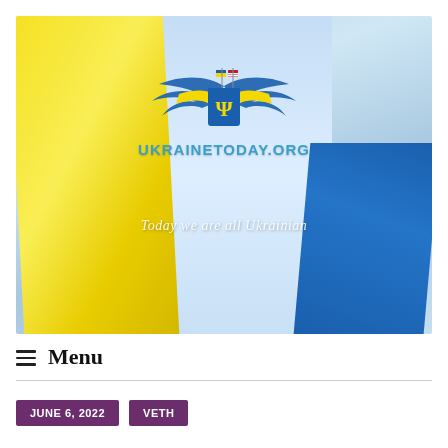[Figure (photo): Hero banner image showing a woman in traditional Ukrainian floral wreath holding a large Ukrainian flag (blue and yellow). A logo with eagle wings, Ukrainian trident shield, and crossed Ukrainian-American flags appears in the center with text 'UKRAINETODAY.org' and tagline 'Today we are all Ukrainian'.]
≡ Menu
JUNE 6, 2022    VETH